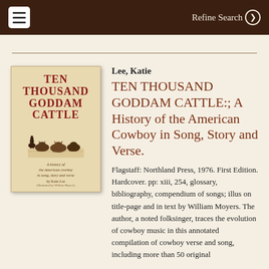Refine Search
[Figure (illustration): Book cover of 'Ten Thousand Goddam Cattle: A History of the American Cowboy in Song, Story and Verse' by Katie Lee, showing red bold title text, an illustration of cattle and cowboys, and subtitle text on aged paper background.]
Lee, Katie
TEN THOUSAND GODDAM CATTLE:; A History of the American Cowboy in Song, Story and Verse.
Flagstaff: Northland Press, 1976. First Edition. Hardcover. pp: xiii, 254, glossary, bibliography, compendium of songs; illus on title-page and in text by William Moyers. The author, a noted folksinger, traces the evolution of cowboy music in this annotated compilation of cowboy verse and song, including more than 50 original